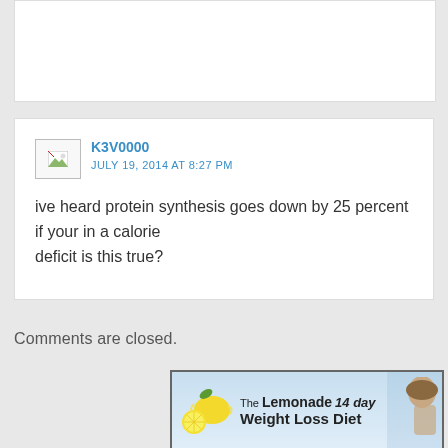[Figure (other): White content block at top, partially visible]
K3V0000
JULY 19, 2014 AT 8:27 PM
ive heard protein synthesis goes down by 25 percent if your in a calorie deficit is this true?
Comments are closed.
[Figure (photo): Advertisement for The Lemonade 14 day Weight Loss Diet, showing lemons on left and a woman on right against a light blue background]